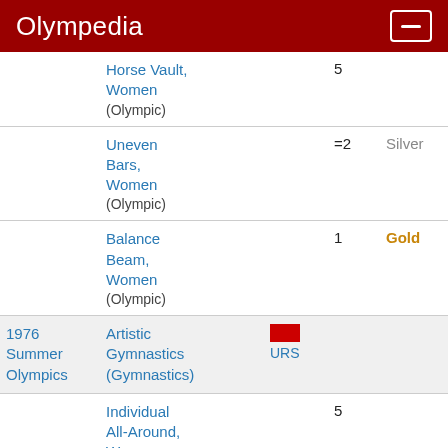Olympedia
| Year | Event | Flag/Country | Pos | Medal | NOC | Athlete |
| --- | --- | --- | --- | --- | --- | --- |
|  | Horse Vault, Women (Olympic) |  | 5 |  |  |  |
|  | Uneven Bars, Women (Olympic) |  | =2 | Silver |  |  |
|  | Balance Beam, Women (Olympic) |  | 1 | Gold |  |  |
| 1976 Summer Olympics | Artistic Gymnastics (Gymnastics) | URS |  |  | BLR | Ol Ko |
| Year | Event | Flag/Country | Pos | Medal | NOC | Athlete |
| --- | --- | --- | --- | --- | --- | --- |
|  | Individual All-Around, Women |  | 5 |  |  |  |